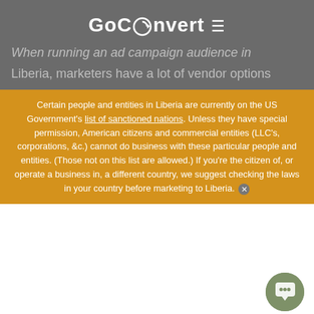GoConvert
When running an ad campaign audience in Liberia, marketers have a lot of vendor options
Certain people and entities in Liberia are currently on the US Government's list of sanctioned nations. Unless they have special permission, American citizens and commercial entities (LLC's, corporations, &c.) cannot do business with these particular people and entities. (Those not on this list are allowed.) If you're the citizen of, or operate a business in, a different country, we suggest checking the laws in your country before marketing to Liberia.
spending with those vendors.
Those You Know
[Figure (logo): Social media icons: Facebook, Google+, LinkedIn, Twitter]
Most marketers are familiar with these compan GoConvert automatically aggregates data from these